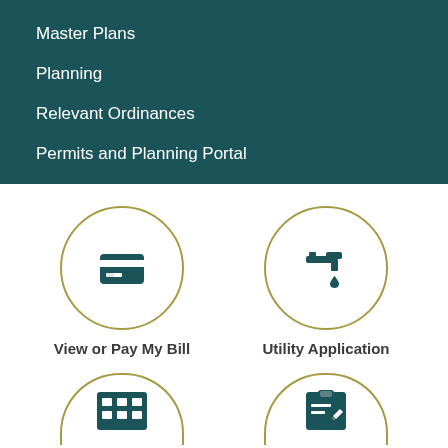Master Plans
Planning
Relevant Ordinances
Permits and Planning Portal
[Figure (infographic): Circular icon with credit card symbol representing View or Pay My Bill]
View or Pay My Bill
[Figure (infographic): Circular icon with water faucet/tap symbol representing Utility Application]
Utility Application
[Figure (infographic): Circular icon with grid/table symbol, partially visible at bottom]
[Figure (infographic): Circular icon with clipboard/checklist symbol, partially visible at bottom]